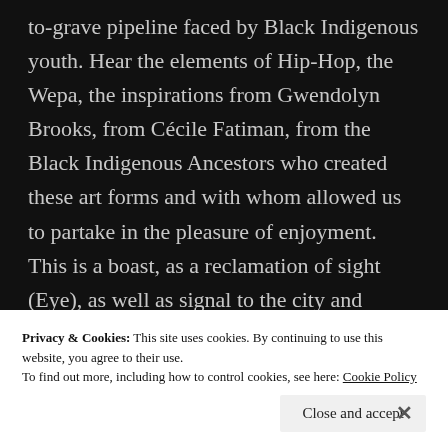to-grave pipeline faced by Black Indigenous youth. Hear the elements of Hip-Hop, the Wepa, the inspirations from Gwendolyn Brooks, from Cécile Fatiman, from the Black Indigenous Ancestors who created these art forms and with whom allowed us to partake in the pleasure of enjoyment. This is a boast, as a reclamation of sight (Eye), as well as signal to the city and beyond (Run It).
Privacy & Cookies: This site uses cookies. By continuing to use this website, you agree to their use. To find out more, including how to control cookies, see here: Cookie Policy